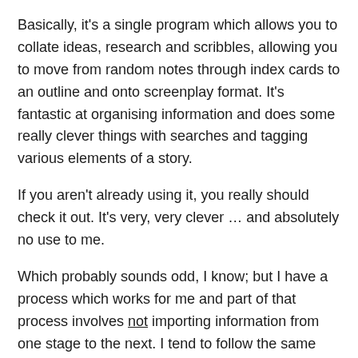Basically, it's a single program which allows you to collate ideas, research and scribbles, allowing you to move from random notes through index cards to an outline and onto screenplay format. It's fantastic at organising information and does some really clever things with searches and tagging various elements of a story.
If you aren't already using it, you really should check it out. It's very, very clever … and absolutely no use to me.
Which probably sounds odd, I know; but I have a process which works for me and part of that process involves not importing information from one stage to the next. I tend to follow the same stages every time:
SYNOPSIS
INDEX CARDS